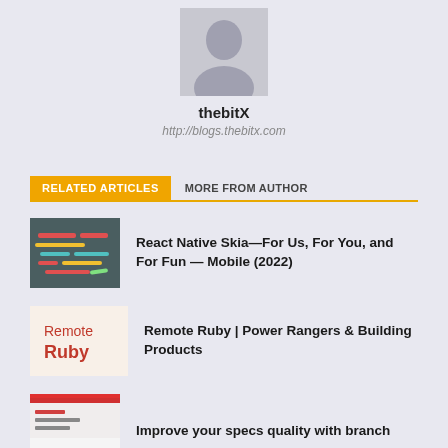[Figure (illustration): Gray silhouette avatar placeholder image]
thebitX
http://blogs.thebitx.com
RELATED ARTICLES    MORE FROM AUTHOR
[Figure (illustration): Dark teal background with colorful code/pencil graphic representing React Native Skia article]
React Native Skia—For Us, For You, and For Fun — Mobile (2022)
[Figure (illustration): Light background with Remote Ruby text in red]
Remote Ruby | Power Rangers & Building Products
[Figure (illustration): Partially visible thumbnail with red bar at top]
Improve your specs quality with branch